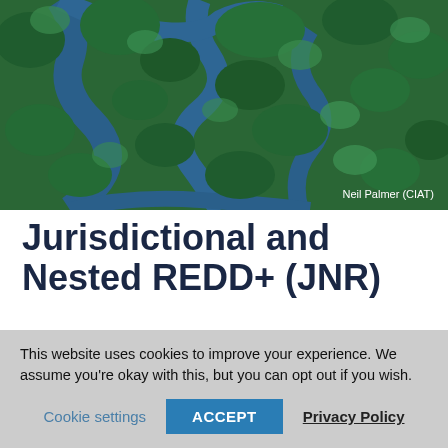[Figure (photo): Aerial view of tropical rainforest with winding river channels and dense green canopy, photographed by Neil Palmer (CIAT)]
Neil Palmer (CIAT)
Jurisdictional and Nested REDD+ (JNR)
Driving private investment in REDD+
This website uses cookies to improve your experience. We assume you're okay with this, but you can opt out if you wish.
Cookie settings | ACCEPT | Privacy Policy